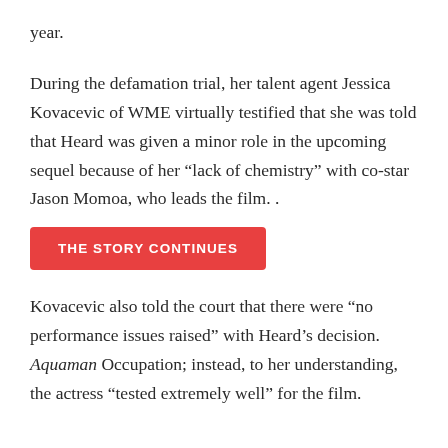year.
During the defamation trial, her talent agent Jessica Kovacevic of WME virtually testified that she was told that Heard was given a minor role in the upcoming sequel because of her “lack of chemistry” with co-star Jason Momoa, who leads the film. .
THE STORY CONTINUES
Kovacecvic also told the court that there were “no performance issues raised” with Heard’s decision. Aquaman Occupation; instead, to her understanding, the actress “tested extremely well” for the film.